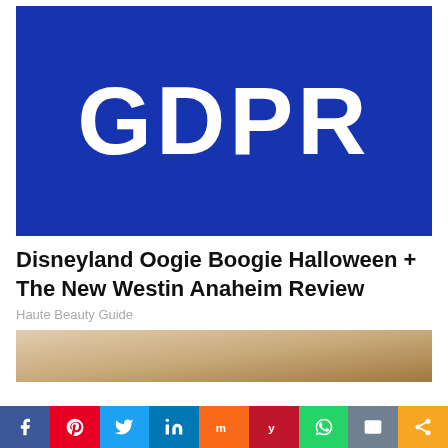[Figure (logo): Blue rectangle with large white bold 'GDPR' text centered on it]
Disneyland Oogie Boogie Halloween + The New Westin Anaheim Review
Haute Beauty Guide
[Figure (photo): Partial thumbnail photo with beige/tan tones, appears to be a hotel or resort interior]
[Figure (infographic): Social sharing toolbar with icons for Facebook, Pinterest, Twitter, LinkedIn, Mix, Yummly, WhatsApp, Email, and Share]